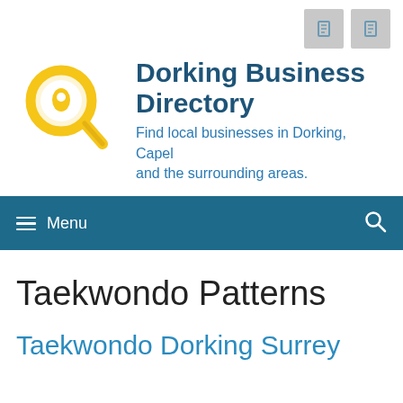[Figure (logo): Dorking Business Directory logo: magnifying glass with map pin in yellow/gold, and brand name text]
Dorking Business Directory
Find local businesses in Dorking, Capel and the surrounding areas.
Menu
Taekwondo Patterns
Taekwondo Dorking Surrey